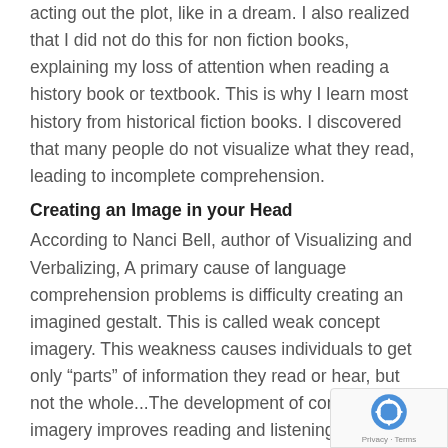acting out the plot, like in a dream. I also realized that I did not do this for non fiction books, explaining my loss of attention when reading a history book or textbook. This is why I learn most history from historical fiction books. I discovered that many people do not visualize what they read, leading to incomplete comprehension.
Creating an Image in your Head
According to Nanci Bell, author of Visualizing and Verbalizing, A primary cause of language comprehension problems is difficulty creating an imagined gestalt. This is called weak concept imagery. This weakness causes individuals to get only “parts” of information they read or hear, but not the whole...The development of concept imagery improves reading and listening comprehension, memory, oral vocabulary, critical thinking, and writing.  Nanci Bell’s program is a step by step process to encourage children to make up
[Figure (other): reCAPTCHA badge with spinning arrows logo and Privacy - Terms text]